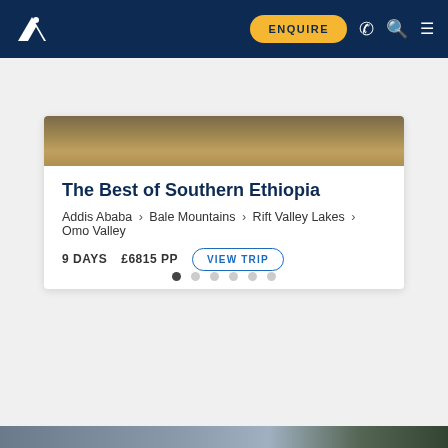Navigation bar with logo, ENQUIRE button, phone icon, search icon, menu icon
[Figure (screenshot): Travel website card for 'The Best of Southern Ethiopia' trip showing a landscape photo, route, duration and price]
The Best of Southern Ethiopia
Addis Ababa › Bale Mountains › Rift Valley Lakes › Omo Valley
9 DAYS    £6815 PP    VIEW TRIP
This website uses cookies to ensure you get the best experience on our website.
Learn more
Got it!